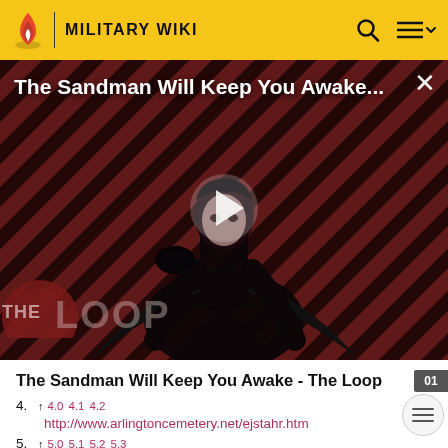MILITARY WIKI
[Figure (screenshot): Video thumbnail for 'The Sandman Will Keep You Awake...' showing a dark-cloaked figure against a red and black diagonal striped background with THE LOOP watermark and a play button overlay]
The Sandman Will Keep You Awake - The Loop
4. ↑ 4.0 4.1 4.2
http://www.arlingtoncemetery.net/ejstahr.htm
5. ↑ 5.0 5.1 5.2 5.3
http://www.army.mil/usapa/epubs/pdf/go2001.pdf